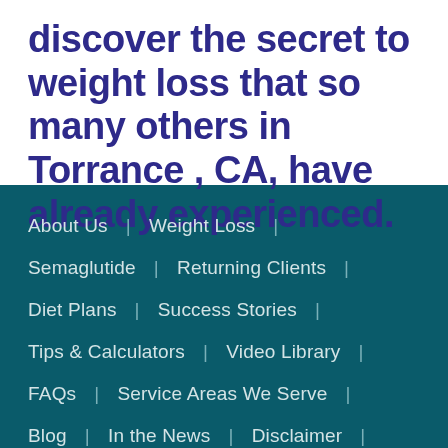discover the secret to weight loss that so many others in Torrance , CA, have already experienced.
About Us | Weight Loss |
Semaglutide | Returning Clients |
Diet Plans | Success Stories |
Tips & Calculators | Video Library |
FAQs | Service Areas We Serve |
Blog | In the News | Disclaimer |